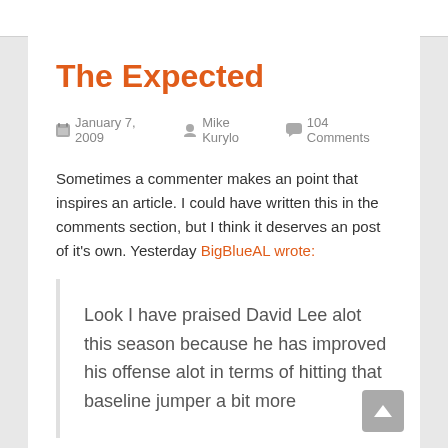The Expected
January 7, 2009  Mike Kurylo  104 Comments
Sometimes a commenter makes an point that inspires an article. I could have written this in the comments section, but I think it deserves an post of it's own. Yesterday BigBlueAL wrote:
Look I have praised David Lee alot this season because he has improved his offense alot in terms of hitting that baseline jumper a bit more